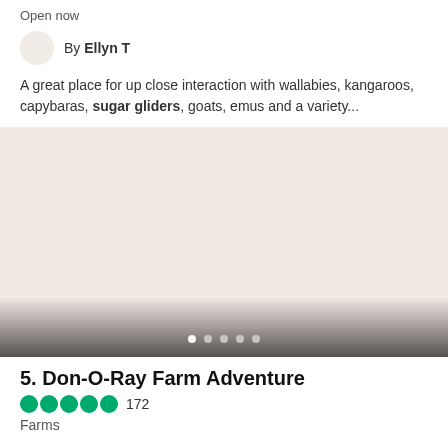Open now
By Ellyn T
A great place for up close interaction with wallabies, kangaroos, capybaras, sugar gliders, goats, emus and a variety...
[Figure (photo): Image carousel placeholder with beige/pinkish-tan background, gradient overlay at bottom, and 5 navigation dots (first dot active/white, rest semi-transparent)]
5. Don-O-Ray Farm Adventure
172
Farms